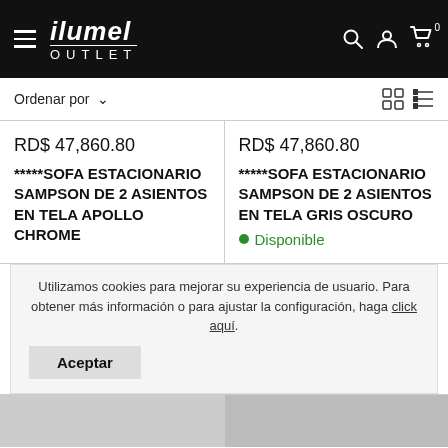[Figure (screenshot): ilumel OUTLET e-commerce website header with black background, hamburger menu icon on left, ilumel OUTLET logo in center-left (italic bold ilumel over OUTLET in spaced caps), and search, user, and cart icons on the right]
Ordenar por ∨
RD$ 47,860.80
*****SOFA ESTACIONARIO SAMPSON DE 2 ASIENTOS EN TELA APOLLO CHROME
RD$ 47,860.80
*****SOFA ESTACIONARIO SAMPSON DE 2 ASIENTOS EN TELA GRIS OSCURO
● Disponible
Utilizamos cookies para mejorar su experiencia de usuario. Para obtener más información o para ajustar la configuración, haga click aquí.
Aceptar